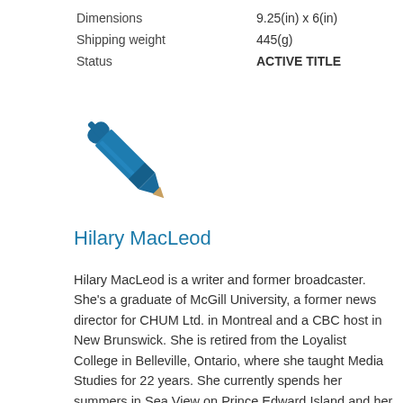| Dimensions | 9.25(in) x 6(in) |
| Shipping weight | 445(g) |
| Status | ACTIVE TITLE |
[Figure (illustration): A blue pen/pencil icon pointing diagonally]
Hilary MacLeod
Hilary MacLeod is a writer and former broadcaster. She's a graduate of McGill University, a former news director for CHUM Ltd. in Montreal and a CBC host in New Brunswick. She is retired from the Loyalist College in Belleville, Ontario, where she taught Media Studies for 22 years. She currently spends her summers in Sea View on Prince Edward Island and her winters in